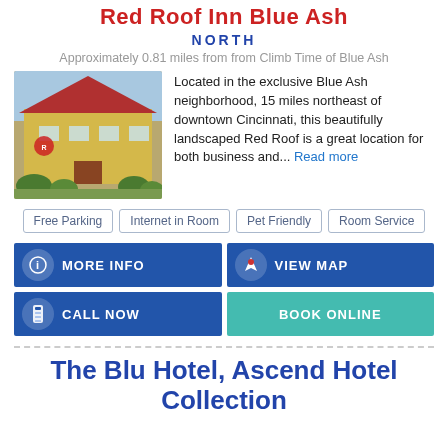Red Roof Inn Blue Ash
NORTH
Approximately 0.81 miles from from Climb Time of Blue Ash
[Figure (photo): Photo of Red Roof Inn Blue Ash exterior, a yellow building with red roof and landscaping]
Located in the exclusive Blue Ash neighborhood, 15 miles northeast of downtown Cincinnati, this beautifully landscaped Red Roof is a great location for both business and... Read more
Free Parking
Internet in Room
Pet Friendly
Room Service
MORE INFO
VIEW MAP
CALL NOW
BOOK ONLINE
The Blu Hotel, Ascend Hotel Collection